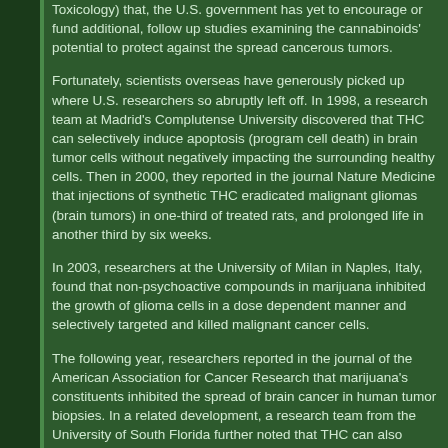Toxicology) that, the U.S. government has yet to encourage or fund additional, follow up studies examining the cannabinoids' potential to protect against the spread cancerous tumors.
Fortunately, scientists overseas have generously picked up where U.S. researchers so abruptly left off. In 1998, a research team at Madrid's Complutense University discovered that THC can selectively induce apoptosis (program cell death) in brain tumor cells without negatively impacting the surrounding healthy cells. Then in 2000, they reported in the journal Nature Medicine that injections of synthetic THC eradicated malignant gliomas (brain tumors) in one-third of treated rats, and prolonged life in another third by six weeks.
In 2003, researchers at the University of Milan in Naples, Italy, found that non-psychoactive compounds in marijuana inhibited the growth of glioma cells in a dose dependent manner and selectively targeted and killed malignant cancer cells.
The following year, researchers reported in the journal of the American Association for Cancer Research that marijuana's constituents inhibited the spread of brain cancer in human tumor biopsies. In a related development, a research team from the University of South Florida further noted that THC can also selectively inhibit the activation and replication of gamma herpes viruses. The viruses, which can lie dormant for years within white blood cells before becoming active and spreading to other cells, are thought to increase one's chances of developing cancers such as Karposis Sarcoma, Burkitts lymphoma, and Hodgkins disease.
More recently, investigators published pre-clinical findings demonstrating that cannabinoids may play a role in inhibiting the growth of colectoral cancer, skin carcinoma, breast cancer, and prostate cancer, among other conditions. When investigators...